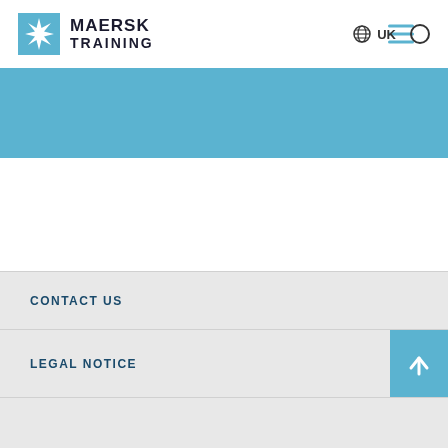[Figure (logo): Maersk Training logo with blue star icon and text MAERSK TRAINING]
[Figure (other): Hamburger menu icon (three horizontal lines in light blue)]
[Figure (other): Globe icon with UK text and circle/search icon on the right]
[Figure (other): Light blue banner/hero area]
CONTACT US
LEGAL NOTICE
[Figure (other): Scroll to top button - light blue square with white upward arrow]